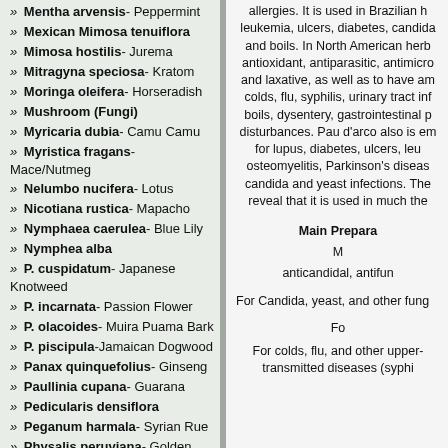» Mentha arvensis- Peppermint
» Mexican Mimosa tenuiflora
» Mimosa hostilis- Jurema
» Mitragyna speciosa- Kratom
» Moringa oleifera- Horseradish
» Mushroom (Fungi)
» Myricaria dubia- Camu Camu
» Myristica fragans- Mace/Nutmeg
» Nelumbo nucifera- Lotus
» Nicotiana rustica- Mapacho
» Nymphaea caerulea- Blue Lily
» Nymphea alba
» P. cuspidatum- Japanese Knotweed
» P. incarnata- Passion Flower
» P. olacoides- Muira Puama Bark
» P. piscipula-Jamaican Dogwood
» Panax quinquefolius- Ginseng
» Paullinia cupana- Guarana
» Pedicularis densiflora
» Peganum harmala- Syrian Rue
» Physalis peruviana- Golden Berry
» Piper methysticum - Kava
» Psychotria viridis- Chakruna
» Pygeum africanum
» Rehmannia Root
allergies. It is used in Brazilian herb leukemia, ulcers, diabetes, candida and boils. In North American herb antioxidant, antiparasitic, antimicro and laxative, as well as to have am colds, flu, syphilis, urinary tract inf boils, dysentery, gastrointestinal p disturbances. Pau d'arco also is em for lupus, diabetes, ulcers, leu osteomyelitis, Parkinson's diseas candida and yeast infections. The reveal that it is used in much the
Main Prepara
M
anticandidal, antifun
For Candida, yeast, and other fung
Fo
For colds, flu, and other upper- transmitted diseases (syphi